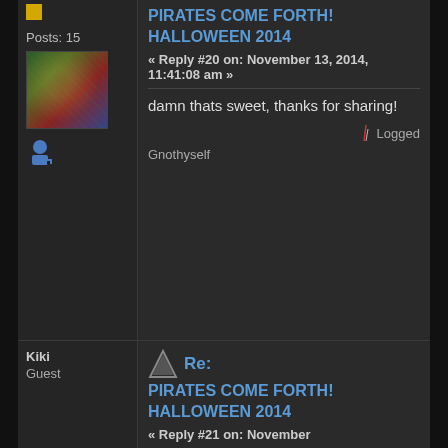Posts: 15
[Figure (photo): User avatar image showing a colorful illustrated scene]
PIRATES COME FORTH! HALLOWEEN 2014
« Reply #20 on: November 13, 2014, 11:41:08 am »
damn thats sweet, thanks for sharing!
Logged
Gnothyself
Kiki
Guest
Re:
PIRATES COME FORTH! HALLOWEEN 2014
« Reply #21 on: November